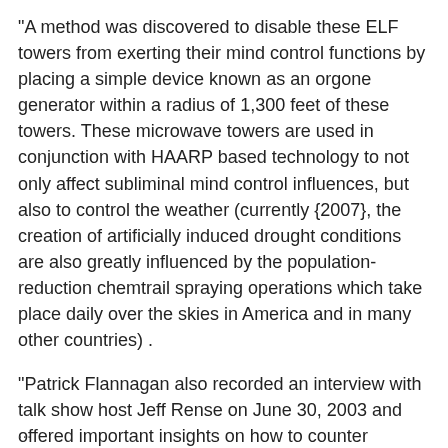"A method was discovered to disable these ELF towers from exerting their mind control functions by placing a simple device known as an orgone generator within a radius of 1,300 feet of these towers. These microwave towers are used in conjunction with HAARP based technology to not only affect subliminal mind control influences, but also to control the weather (currently {2007}, the creation of artificially induced drought conditions are also greatly influenced by the population-reduction chemtrail spraying operations which take place daily over the skies in America and in many other countries) .
"Patrick Flannagan also recorded an interview with talk show host Jeff Rense on June 30, 2003 and offered important insights on how to counter electronic mind control being beamed to us from the electric wiring within our homes and from microwave towers (promising information that should be studied)."
...